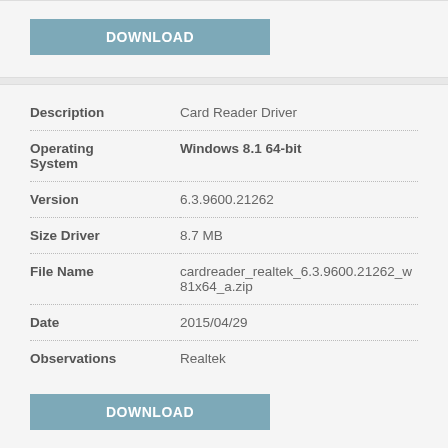DOWNLOAD
| Field | Value |
| --- | --- |
| Description | Card Reader Driver |
| Operating System | Windows 8.1 64-bit |
| Version | 6.3.9600.21262 |
| Size Driver | 8.7 MB |
| File Name | cardreader_realtek_6.3.9600.21262_w81x64_a.zip |
| Date | 2015/04/29 |
| Observations | Realtek |
DOWNLOAD
Description